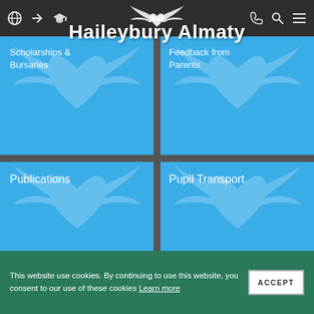Haileybury Almaty
[Figure (screenshot): Navigation bar with icons: person/globe, login arrow, graduation cap, phone, search, hamburger menu. Winged heart logo centered.]
Haileybury Almaty
Scholarships & Bursaries
Feedback from Parents
Publications
Pupil Transport
This website use cookies. By continuing to use this website, you consent to our use of these cookies Learn more
ACCEPT